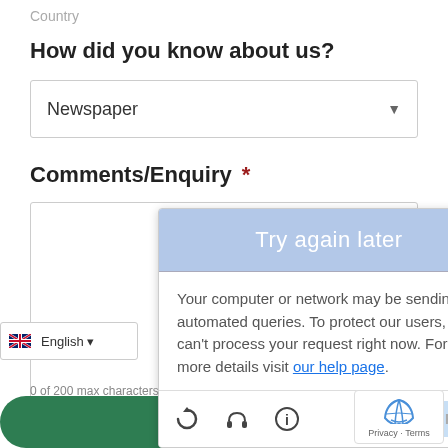Country
How did you know about us?
Newspaper
Comments/Enquiry *
[Figure (screenshot): reCAPTCHA error popup with 'Try again later' button and error message: 'Your computer or network may be sending automated queries. To protect our users, we can't process your request right now. For more details visit our help page.']
English
0 of 200 max characters
Submit